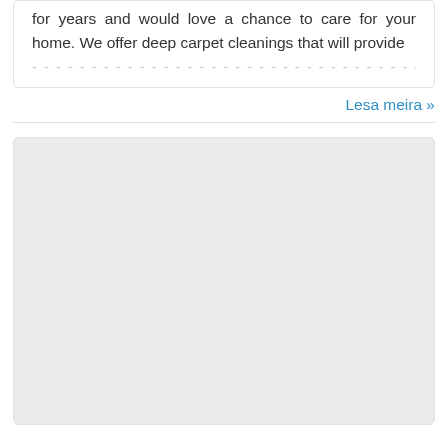for years and would love a chance to care for your home. We offer deep carpet cleanings that will provide
Lesa meira »
[Figure (other): A large light gray placeholder box, likely an image or advertisement block with rounded corners and a light border.]